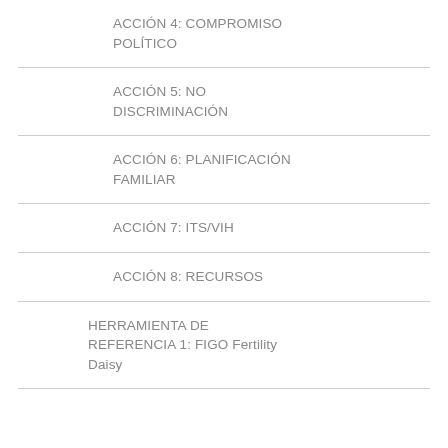ACCIÓN 4: COMPROMISO POLÍTICO
ACCIÓN 5: NO DISCRIMINACIÓN
ACCIÓN 6: PLANIFICACIÓN FAMILIAR
ACCIÓN 7: ITS/VIH
ACCIÓN 8: RECURSOS
HERRAMIENTA DE REFERENCIA 1: FIGO Fertility Daisy